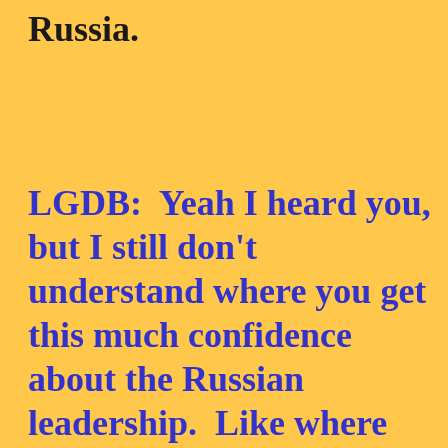Russia.
LGDB:  Yeah I heard you, but I still don't understand where you get this much confidence about the Russian leadership.  Like where did you develop this sense of things?  It seems like a pretty dangerous outcome to stake on whether